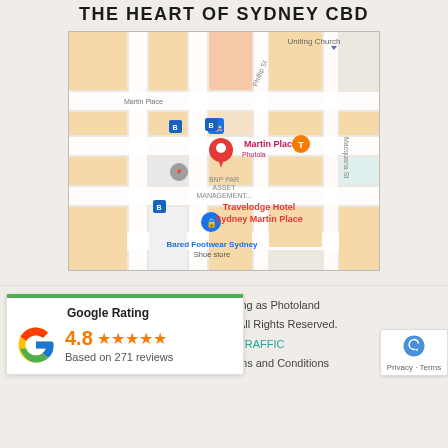THE HEART OF SYDNEY CBD
[Figure (map): Google Maps screenshot showing Martin Place area in Sydney CBD with bus icons, a pink location pin for Photoland, Travelodge Hotel Sydney Martin Place, BNP Paribas Asset Management, Bared Footwear Sydney shoe store, Uniting Church, and Phillip St / Macquarie St labels.]
Google Rating
4.8 ★★★★★
Based on 271 reviews
ing as Photoland
All Rights Reserved.
TRAFFIC
ms and Conditions